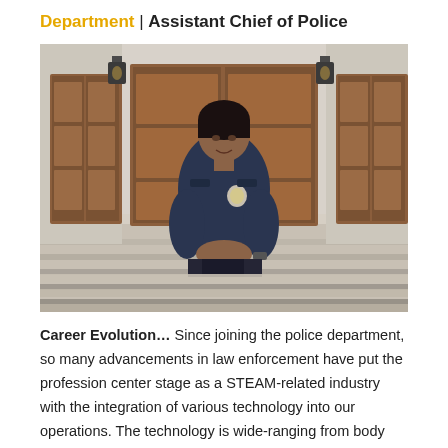Department | Assistant Chief of Police
[Figure (photo): A female police officer in dark navy uniform standing on steps in front of a large building with tall wooden doors and white columns, hands clasped in front of her, smiling at the camera.]
Career Evolution… Since joining the police department, so many advancements in law enforcement have put the profession center stage as a STEAM-related industry with the integration of various technology into our operations. The technology is wide-ranging from body worn cameras, moisture management uniforms